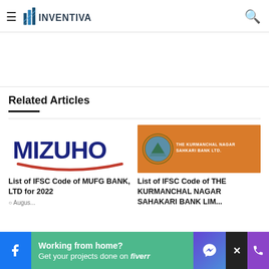INVENTIVA
[Figure (other): White ad placeholder space]
Related Articles
[Figure (logo): Mizuho bank logo — bold navy MIZUHO text with red arc underline]
List of IFSC Code of MUFG BANK, LTD for 2022
August ...
[Figure (photo): The Kurmanchal Nagar Sahkari Bank Ltd. orange banner with circular emblem and text]
List of IFSC Code of THE KURMANCHAL NAGAR SAHAKARI BANK LIM...
Working from home? Get your projects done on fiverr